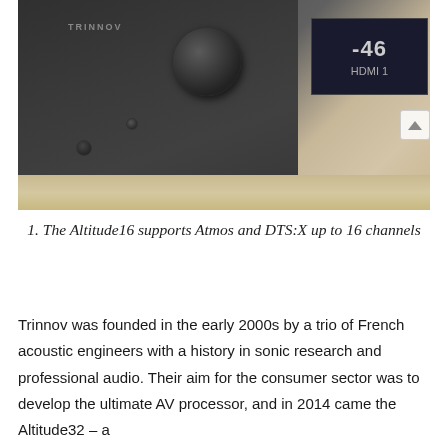[Figure (photo): Close-up photo of a Trinnov Altitude16 AV processor unit in dark grey/black, showing the front panel with a large volume knob, a display screen showing '-46' and 'HDMI 1', and a small LED button. The device rests on a light wood surface.]
1. The Altitude16 supports Atmos and DTS:X up to 16 channels
Trinnov was founded in the early 2000s by a trio of French acoustic engineers with a history in sonic research and professional audio. Their aim for the consumer sector was to develop the ultimate AV processor, and in 2014 came the Altitude32 – a